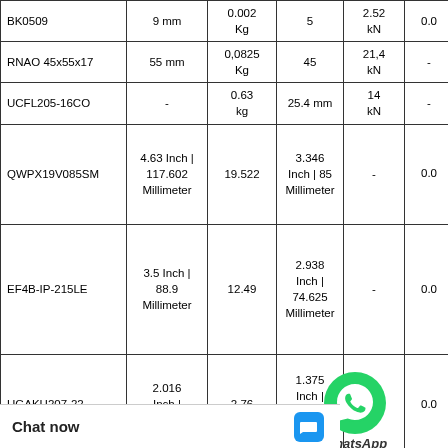| Part Number | Size | Weight | Bore | Load | Col6 | Col7 |
| --- | --- | --- | --- | --- | --- | --- |
| BK0509 | 9 mm | 0.002 Kg | 5 | 2.52 kN | 0.0 | N |
| RNAO 45x55x17 | 55 mm | 0,0825 Kg | 45 | 21,4 kN | - |  |
| UCFL205-16CO | - | 0.63 kg | 25.4 mm | 14 kN | - |  |
| QWPX19V085SM | 4.63 Inch | 117.602 Millimeter | 19.522 | 3.346 Inch | 85 Millimeter | - | 0.0 | N |
| EF4B-IP-215LE | 3.5 Inch | 88.9 Millimeter | 12.49 | 2.938 Inch | 74.625 Millimeter | - | 0.0 | N |
| UGAKH207-22 | 2.016 Inch | 51.2... | 2.76 | 1.375 Inch | 34.925 ...meter | - | 0.0 | N |